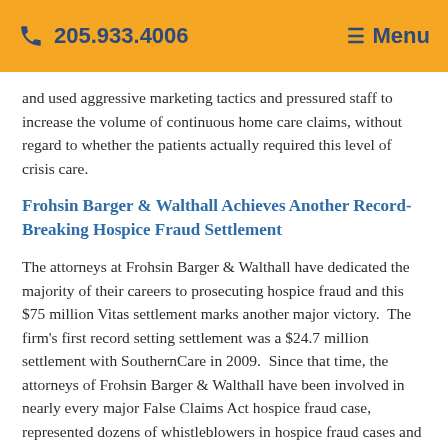☎ 205.933.4006   ☰ Menu
and used aggressive marketing tactics and pressured staff to increase the volume of continuous home care claims, without regard to whether the patients actually required this level of crisis care.
Frohsin Barger & Walthall Achieves Another Record-Breaking Hospice Fraud Settlement
The attorneys at Frohsin Barger & Walthall have dedicated the majority of their careers to prosecuting hospice fraud and this $75 million Vitas settlement marks another major victory.  The firm's first record setting settlement was a $24.7 million settlement with SouthernCare in 2009.  Since that time, the attorneys of Frohsin Barger & Walthall have been involved in nearly every major False Claims Act hospice fraud case,  represented dozens of whistleblowers in hospice fraud cases and achieved numerous favorable settlements. Through this experience, Frohsin Barger & Walthall has